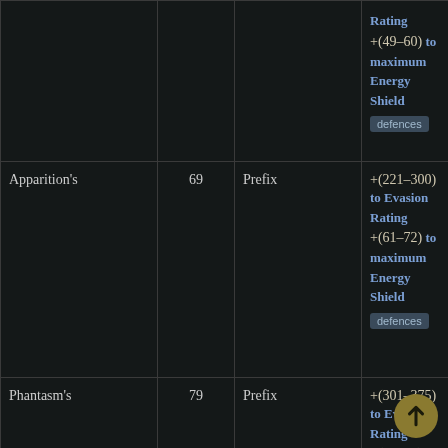| Name | Level | Type | Effect |
| --- | --- | --- | --- |
|  |  |  | Rating +(49–60) to maximum Energy Shield [defences] |
| Apparition's | 69 | Prefix | +(221–300) to Evasion Rating +(61–72) to maximum Energy Shield [defences] |
| Phantasm's | 79 | Prefix | +(301–375) to Evasion Rating +(73–80) to |